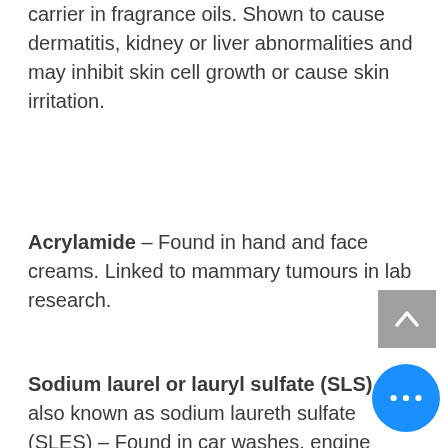carrier in fragrance oils. Shown to cause dermatitis, kidney or liver abnormalities and may inhibit skin cell growth or cause skin irritation.
Acrylamide – Found in hand and face creams. Linked to mammary tumours in lab research.
Sodium laurel or lauryl sulfate (SLS), also known as sodium laureth sulfate (SLES) – Found in car washes, engine degreasers, garage floor cleaners... and in over 90% of personal care products! SLS breaks down the skin's moisture barrier, quickly penetrates the skin and allows other chemicals to grasp easily. Combined with other